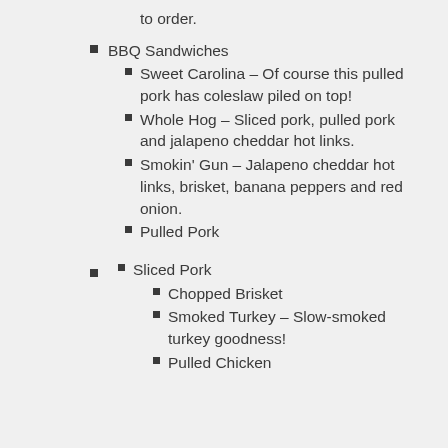to order.
BBQ Sandwiches
Sweet Carolina – Of course this pulled pork has coleslaw piled on top!
Whole Hog – Sliced pork, pulled pork and jalapeno cheddar hot links.
Smokin' Gun – Jalapeno cheddar hot links, brisket, banana peppers and red onion.
Pulled Pork
Sliced Pork
Chopped Brisket
Smoked Turkey – Slow-smoked turkey goodness!
Pulled Chicken